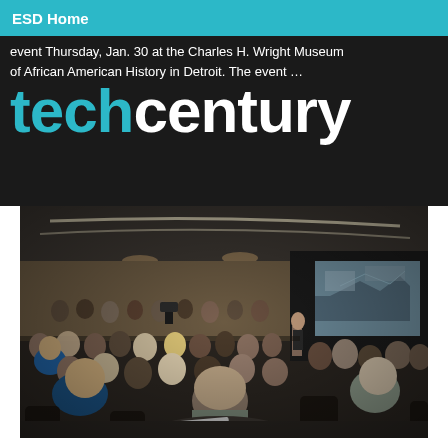ESD Home
event Thursday, Jan. 30 at the Charles H. Wright Museum of African American History in Detroit. The event …
techcentury
[Figure (photo): A large conference room/auditorium filled with attendees seated in rows, viewed from the back. A presenter stands at a podium at the front near a large projection screen showing an aerial image. The room has modern curved ceiling lighting strips.]